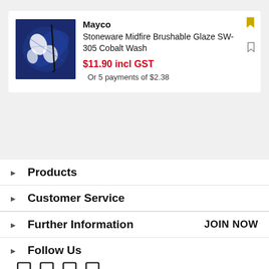[Figure (photo): Product image showing blue and white ceramic glaze pattern with brush marks]
Mayco
Stoneware Midfire Brushable Glaze SW-305 Cobalt Wash
$11.90 incl GST
Or 5 payments of $2.38
Products
Customer Service
Further Information
Follow Us